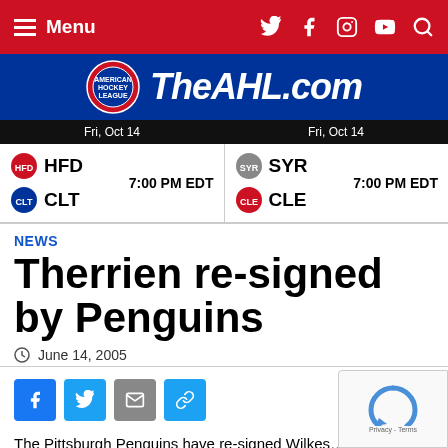Menu — TheAHL.com navigation
[Figure (logo): TheAHL.com logo with AHL hockey puck graphic on blue background]
| Date | Away | Home | Time |
| --- | --- | --- | --- |
| Fri, Oct 14 | HFD | CLT | 7:00 PM EDT |
| Fri, Oct 14 | SYR | CLE | 7:00 PM EDT |
NEWS
Therrien re-signed by Penguins
June 14, 2005
The Pittsburgh Penguins have re-signed Wilkes…